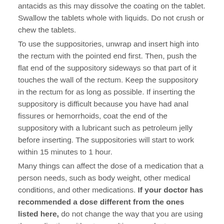antacids as this may dissolve the coating on the tablet. Swallow the tablets whole with liquids. Do not crush or chew the tablets.
To use the suppositories, unwrap and insert high into the rectum with the pointed end first. Then, push the flat end of the suppository sideways so that part of it touches the wall of the rectum. Keep the suppository in the rectum for as long as possible. If inserting the suppository is difficult because you have had anal fissures or hemorrhoids, coat the end of the suppository with a lubricant such as petroleum jelly before inserting. The suppositories will start to work within 15 minutes to 1 hour.
Many things can affect the dose of a medication that a person needs, such as body weight, other medical conditions, and other medications. If your doctor has recommended a dose different from the ones listed here, do not change the way that you are using the medication without consulting your doctor.